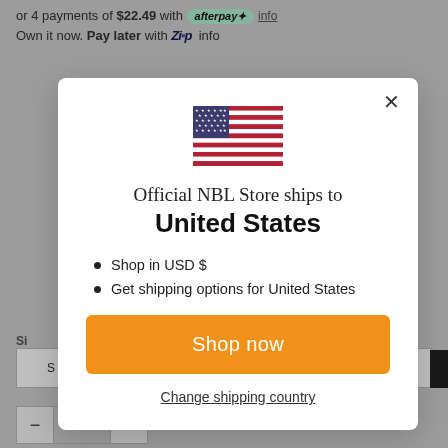or 4 payments of $22.49 with afterpay info
Own it now. Pay later with Zip info
[Figure (screenshot): Modal dialog showing US flag and shipping information for Official NBL Store]
Official NBL Store ships to
United States
Shop in USD $
Get shipping options for United States
Shop now
Change shipping country